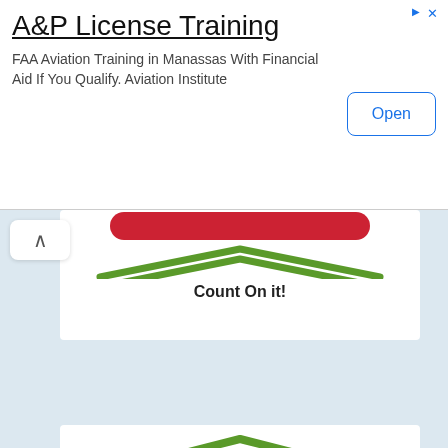[Figure (screenshot): Mobile ad banner for A&P License Training. Title: 'A&P License Training', subtitle: 'FAA Aviation Training in Manassas With Financial Aid If You Qualify. Aviation Institute', with an 'Open' button on the right.]
[Figure (logo): Partial brand card showing red shape and 'Count On it!' text, with green chevron/roof shape above white card area.]
[Figure (logo): Hunter brand card with green chevron roof shape, blue Hunter logo box reading 'Hunter® The Irrigation Innovators']
[Figure (logo): Irritrol brand card with green chevron roof shape and bold italic 'Irritrol.' logo with red underline stripe]